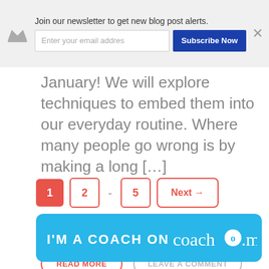Join our newsletter to get new blog post alerts.
Enter your email addres
Subscribe Now
January! We will explore techniques to embed them into our everyday routine. Where many people go wrong is by making a long […]
READ MORE
LEAVE A COMMENT
1  2  -  5  Next →
[Figure (logo): I'M A COACH ON coach.me banner in blue]